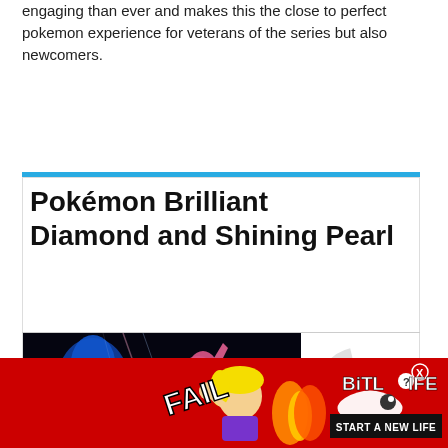engaging than ever and makes this the close to perfect pokemon experience for veterans of the series but also newcomers.
Pokémon Brilliant Diamond and Shining Pearl
[Figure (screenshot): Game screenshot showing Pokémon characters with light effects against a dark background]
[Figure (other): Partial circular score/rating graphic in green and grey]
We use cookies on our website to give you the most relevant experience by remembering your preferences and repeat visits. By clicking "Accept All", you consent to the use of ALL the cookies. However, you may visit "Cookie Settings" to provide a controlled consent.
[Figure (advertisement): BitLife game advertisement with red background, FAIL text, cartoon character, and START A NEW LIFE text]